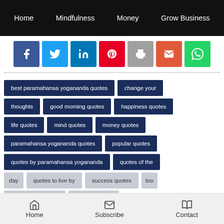Home   Mindfulness   Money   Grow Business
[Figure (other): Social share buttons: Facebook, Twitter, LinkedIn, Pinterest, Print, Email, WhatsApp]
best paramahansa yogananda quotes
change your thoughts
good morning quotes
happiness quotes
life quotes
mind quotes
money quotes
paramahansa yogananda quotes
popular quotes
quotes by paramahansa yogananda
quotes of the day
quotes to live by
success quotes
top paramahansa yogananda
wisdom quotes
Home   Subscribe   Contact